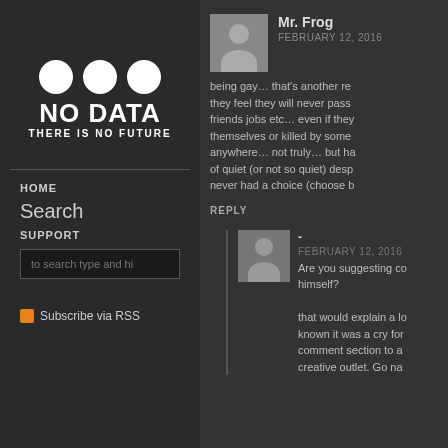[Figure (logo): NO DATA THERE IS NO FUTURE logo with three white circles above text]
HOME
Search
SUPPORT
to search type and hi
Subscribe via RSS
Mr. Frog
FEBRUARY 12, 2016
being gay… that's another re they feel they will never pass friends jobs etc… even if they themselves or killed by some anywhere… not truly… but ha of quiet (or not so quiet) desp never had a choice (choose b
REPLY
-
FEBRUARY 12, 2016
Are you suggesting co himself? that would explain a lo known it was a cry for comment section to a creative outlet. Go na